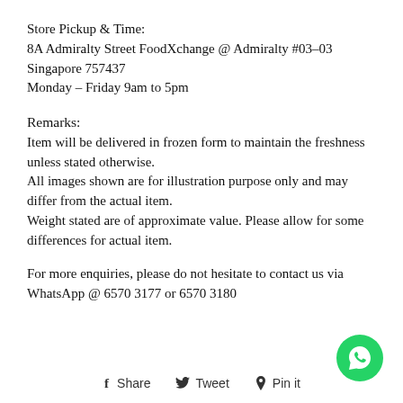Store Pickup & Time:
8A Admiralty Street FoodXchange @ Admiralty #03-03 Singapore 757437
Monday – Friday 9am to 5pm
Remarks:
Item will be delivered in frozen form to maintain the freshness unless stated otherwise.
All images shown are for illustration purpose only and may differ from the actual item.
Weight stated are of approximate value. Please allow for some differences for actual item.
For more enquiries, please do not hesitate to contact us via WhatsApp @ 6570 3177 or 6570 3180
[Figure (other): Social sharing links: Share (Facebook), Tweet (Twitter), Pin it (Pinterest), and a WhatsApp green circle icon button]